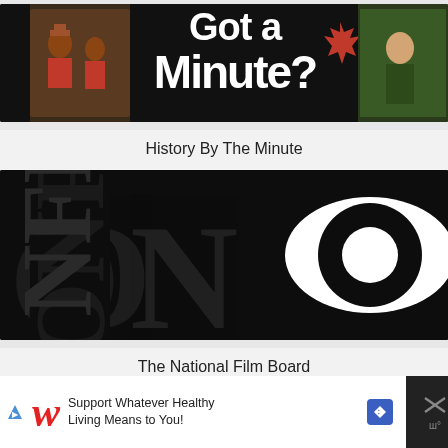[Figure (screenshot): Thumbnail image for 'History By The Minute' featuring people and red maple leaf logo with 'Got a Minute?' text]
History By The Minute
[Figure (logo): ONF/NFB (National Film Board of Canada) logo — black background with large white eye graphic and ONF/NFB lettering]
The National Film Board
[Figure (screenshot): Partial view of a third card with blue horizontal line visible]
[Figure (screenshot): Advertisement banner: Walgreens 'Support Whatever Healthy Living Means to You!' with blue diamond arrow icon and close button]